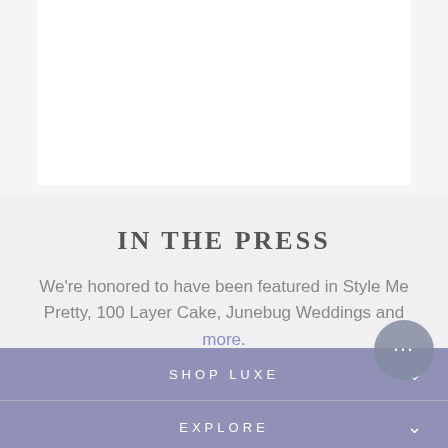[Figure (photo): White rectangular image/photo area on light gray background]
IN THE PRESS
We're honored to have been featured in Style Me Pretty, 100 Layer Cake, Junebug Weddings and more.
SHOP LUXE
EXPLORE